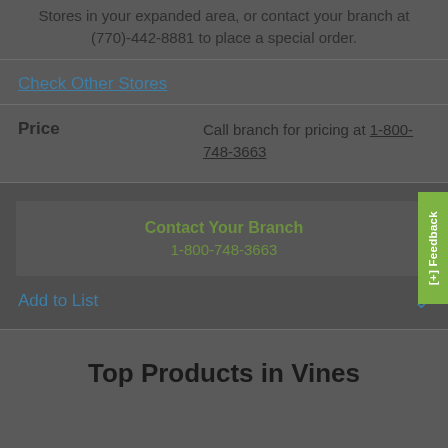Stores in your expanded area, or contact your branch at (770)-442-8881 to place a special order.
Check Other Stores
Price   Call branch for pricing at 1-800-748-3663
Contact Your Branch
1-800-748-3663
Add to List
Top Products in Vines